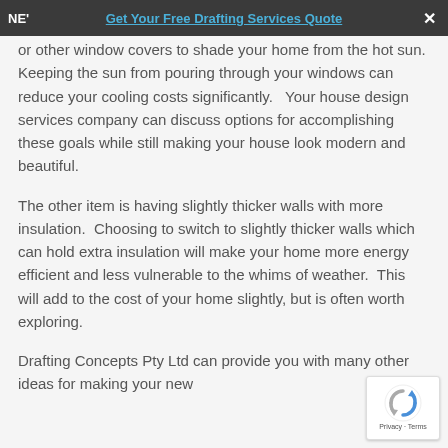NE’ | Get Your Free Drafting Services Quote | ×
or other window covers to shade your home from the hot sun.  Keeping the sun from pouring through your windows can reduce your cooling costs significantly.   Your house design services company can discuss options for accomplishing these goals while still making your house look modern and beautiful.
The other item is having slightly thicker walls with more insulation.  Choosing to switch to slightly thicker walls which can hold extra insulation will make your home more energy efficient and less vulnerable to the whims of weather.  This will add to the cost of your home slightly, but is often worth exploring.
Drafting Concepts Pty Ltd can provide you with many other ideas for making your new
[Figure (logo): reCAPTCHA logo with Privacy and Terms text]